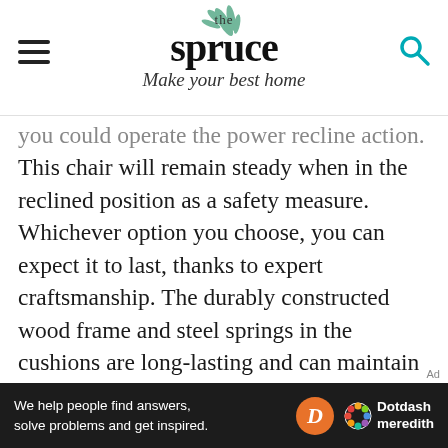the spruce — Make your best home
you could operate the power recline action. This chair will remain steady when in the reclined position as a safety measure. Whichever option you choose, you can expect it to last, thanks to expert craftsmanship. The durably constructed wood frame and steel springs in the cushions are long-lasting and can maintain support for years to come.
Cleaning and maintenance are simple—just rotate cushions regularly, clean any stains with a sponge or towel, and keep out of direct sunlight to avoid fading. While this is among the more
We help people find answers, solve problems and get inspired. Dotdash meredith